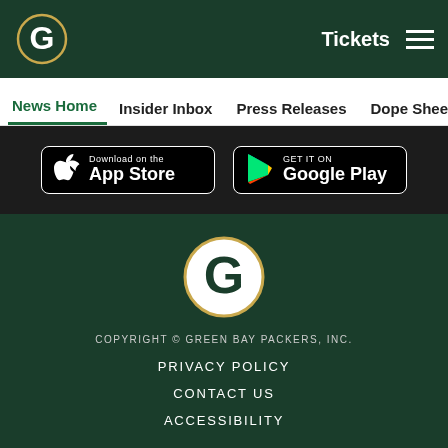Green Bay Packers header navigation with logo, Tickets link, and hamburger menu
News Home | Insider Inbox | Press Releases | Dope Sheet | Game
[Figure (screenshot): App Store and Google Play download badges on dark background]
[Figure (logo): Green Bay Packers G logo (white G on oval, gold border) centered on dark green background]
COPYRIGHT © GREEN BAY PACKERS, INC.
PRIVACY POLICY
CONTACT US
ACCESSIBILITY
[Figure (infographic): Social media icons: Facebook, Twitter, Email, Link]